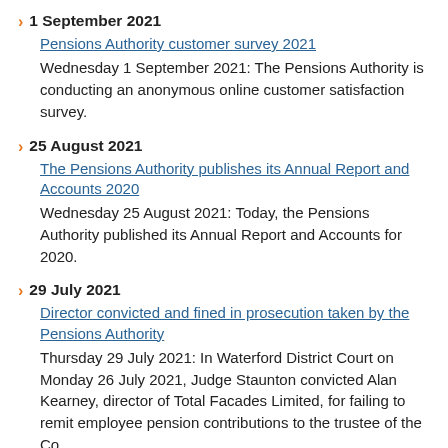1 September 2021
Pensions Authority customer survey 2021
Wednesday 1 September 2021: The Pensions Authority is conducting an anonymous online customer satisfaction survey.
25 August 2021
The Pensions Authority publishes its Annual Report and Accounts 2020
Wednesday 25 August 2021: Today, the Pensions Authority published its Annual Report and Accounts for 2020.
29 July 2021
Director convicted and fined in prosecution taken by the Pensions Authority
Thursday 29 July 2021: In Waterford District Court on Monday 26 July 2021, Judge Staunton convicted Alan Kearney, director of Total Facades Limited, for failing to remit employee pension contributions to the trustee of the Co...
22 July 2021